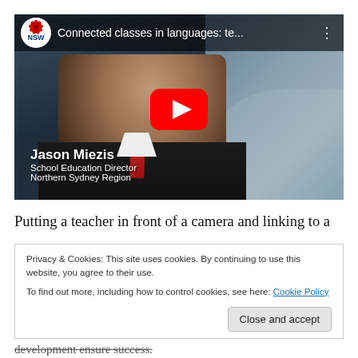[Figure (screenshot): YouTube video thumbnail showing Jason Miezis, School Education Director, Northern Sydney Region, with NSW Government logo and red YouTube play button. Video title reads 'Connected classes in languages: te...']
Putting a teacher in front of a camera and linking to a
Privacy & Cookies: This site uses cookies. By continuing to use this website, you agree to their use.
To find out more, including how to control cookies, see here: Cookie Policy
Close and accept
development ensure success.